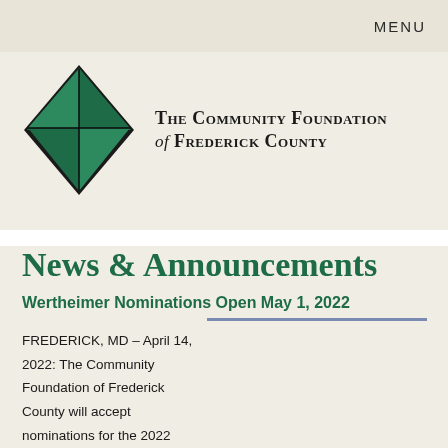MENU
[Figure (logo): The Community Foundation of Frederick County logo: green diamond shape made of four triangular segments with dark outline, next to bold serif text reading 'The Community Foundation of Frederick County']
News & Announcements
Wertheimer Nominations Open May 1, 2022
FREDERICK, MD – April 14, 2022: The Community Foundation of Frederick County will accept nominations for the 2022 Wertheimer Fellow for